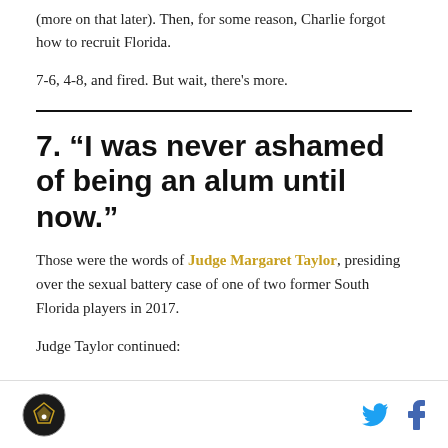(more on that later). Then, for some reason, Charlie forgot how to recruit Florida.
7-6, 4-8, and fired. But wait, there's more.
7. “I was never ashamed of being an alum until now.”
Those were the words of Judge Margaret Taylor, presiding over the sexual battery case of one of two former South Florida players in 2017.
Judge Taylor continued:
[logo] [twitter] [facebook]